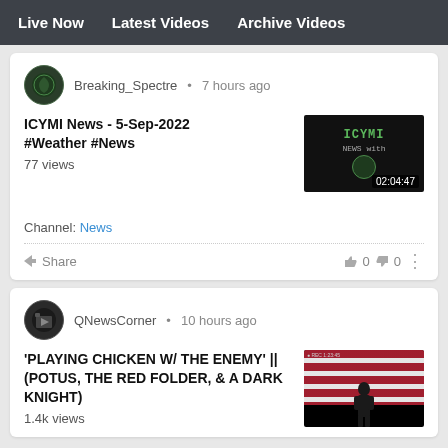Live Now   Latest Videos   Archive Videos
Breaking_Spectre • 7 hours ago
ICYMI News - 5-Sep-2022 #Weather #News
77 views
[Figure (screenshot): Video thumbnail showing ICYMI NEWS with logo, duration 02:04:47]
Channel: News
Share   👍 0  👎 0
QNewsCorner • 10 hours ago
'PLAYING CHICKEN W/ THE ENEMY' || (POTUS, THE RED FOLDER, & A DARK KNIGHT)
1.4k views
[Figure (screenshot): Video thumbnail showing American flag with silhouette]